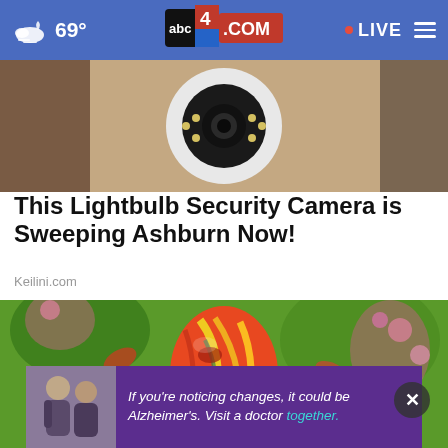69° abc4.com LIVE
[Figure (photo): Hand holding a white round lightbulb security camera with LED ring]
This Lightbulb Security Camera is Sweeping Ashburn Now!
Keilini.com
[Figure (photo): Colorful glass blown egg ornament with red, yellow, green swirls against green foliage and pink flowers]
[Figure (photo): Advertisement: two men, one older, one younger, with text: If you're noticing changes, it could be Alzheimer's. Visit a doctor together.]